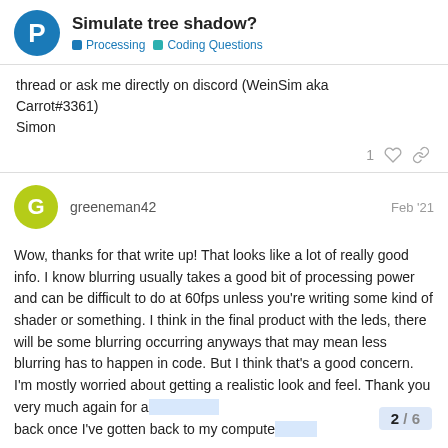Simulate tree shadow? | Processing | Coding Questions
thread or ask me directly on discord (WeinSim aka Carrot#3361)
Simon
greeneman42  Feb '21
Wow, thanks for that write up! That looks like a lot of really good info. I know blurring usually takes a good bit of processing power and can be difficult to do at 60fps unless you're writing some kind of shader or something. I think in the final product with the leds, there will be some blurring occurring anyways that may mean less blurring has to happen in code. But I think that's a good concern. I'm mostly worried about getting a realistic look and feel. Thank you very much again for a... back once I've gotten back to my compute...
2 / 6